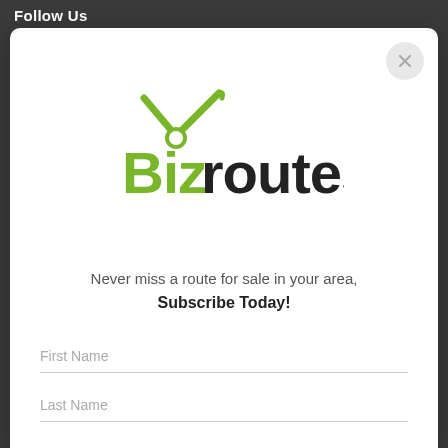Follow Us
[Figure (logo): Bizroutes logo with green scissors/route icon above the text 'Biz' in green and 'routes' in dark/black]
Never miss a route for sale in your area, Subscribe Today!
First Name
Last Name
Contact Number